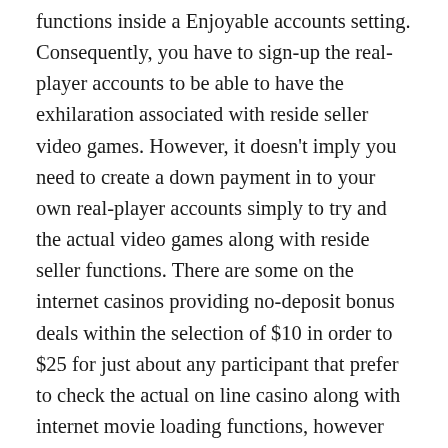functions inside a Enjoyable accounts setting. Consequently, you have to sign-up the real-player accounts to be able to have the exhilaration associated with reside seller video games. However, it doesn't imply you need to create a down payment in to your own real-player accounts simply to try and the actual video games along with reside seller functions. There are some on the internet casinos providing no-deposit bonus deals within the selection of $10 in order to $25 for just about any participant that prefer to check the actual on line casino along with internet movie loading functions, however without having jeopardizing their very own cash. These types of casinos permit you to perform using their no-deposit reward as well as go through the comparable exhilaration because land-based on line casino out of your desktop computer. When you satisfy the betting needs associated with no-deposit reward, you may also pull away your